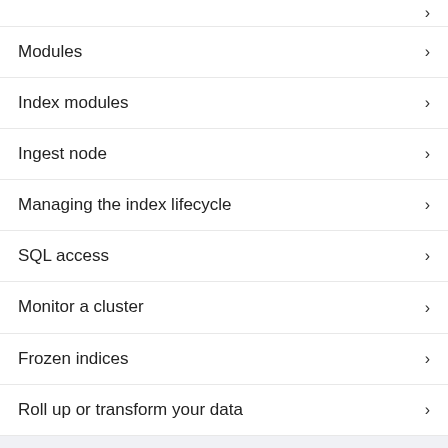Modules
Index modules
Ingest node
Managing the index lifecycle
SQL access
Monitor a cluster
Frozen indices
Roll up or transform your data
Set up a cluster for high availability
Back up a cluster